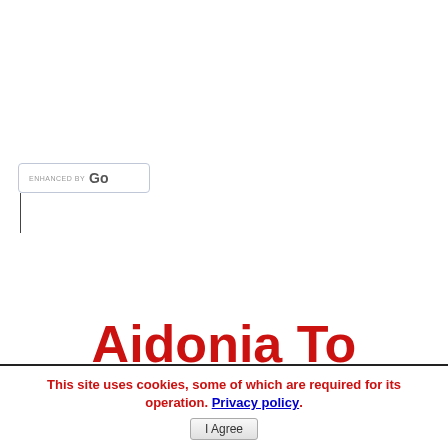[Figure (screenshot): Google custom search box widget showing 'ENHANCED BY Go' text inside a rounded input field]
Aidonia To Launch
This site uses cookies, some of which are required for its operation. Privacy policy.
I Agree